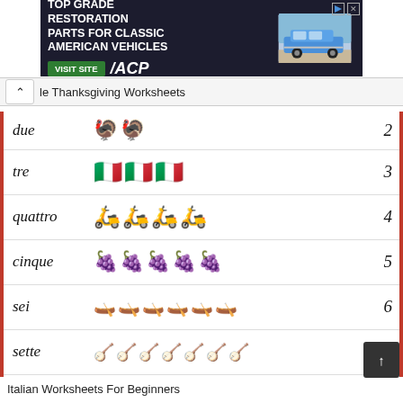[Figure (screenshot): Advertisement banner for ACP Classic Vehicle Restoration Parts with green Visit Site button and classic American car image]
le Thanksgiving Worksheets
| Word | Icons | Number |
| --- | --- | --- |
| due | 🦃🦃 | 2 |
| tre | 🇮🇹🇮🇹🇮🇹 | 3 |
| quattro | 🛵🛵🛵🛵 | 4 |
| cinque | 🍇🍇🍇🍇🍇 | 5 |
| sei | 🛶🛶🛶🛶🛶🛶 | 6 |
| sette | 🪕🪕🪕🪕🪕🪕🪕 | 7 |
| otto | 🍕🍕🍕🍕🍕🍕🍕🍕 | 8 |
Italian Worksheets For Beginners